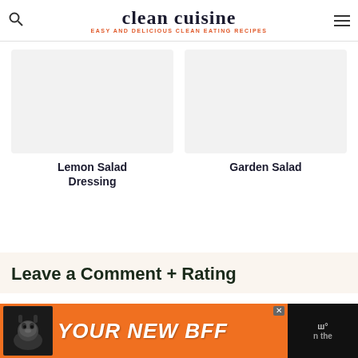clean cuisine — EASY AND DELICIOUS CLEAN EATING RECIPES
[Figure (photo): Placeholder image area for Lemon Salad Dressing recipe card]
Lemon Salad Dressing
[Figure (photo): Placeholder image area for Garden Salad recipe card]
Garden Salad
Leave a Comment + Rating
[Figure (photo): Advertisement banner: YOUR NEW BFF with dog image on orange background]